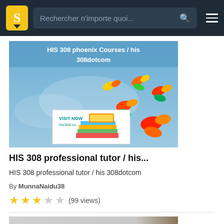Rechercher n'importe quoi...
[Figure (screenshot): Thumbnail image for HIS 308 course document showing blue background with colorful butterflies and a stack of books with text 'VISIT NOW his308.com' and header 'HIS 308 phoenix Courses / his 308dotcom']
HIS 308 professional tutor / his...
HIS 308 professional tutor / his 308dotcom
By MunnaNaidu38
★★★☆☆ (99 views)
[Figure (screenshot): Partial thumbnail of second document showing 'HIS 10/HIS 11' text on grey/brown background]